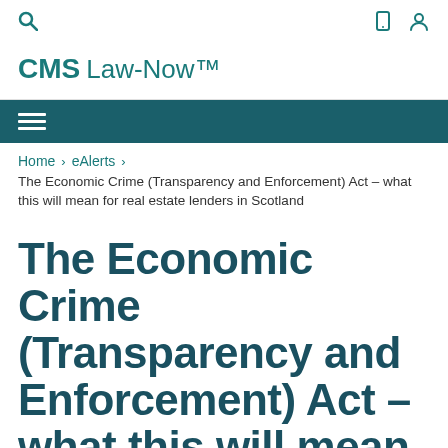CMS Law-Now™
Home > eAlerts > The Economic Crime (Transparency and Enforcement) Act – what this will mean for real estate lenders in Scotland
The Economic Crime (Transparency and Enforcement) Act – what this will mean for real estate lenders in Scotland